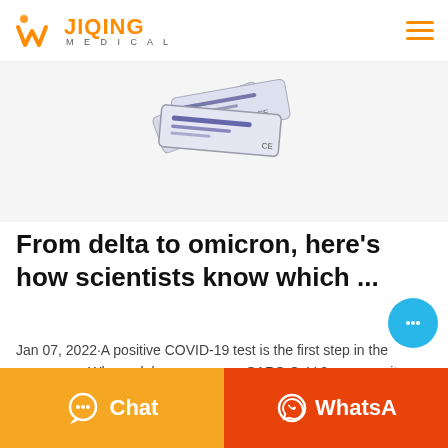JIQING MEDICAL
[Figure (photo): Medical test strips/swab packets fanned out on a white background]
From delta to omicron, here's how scientists know which ...
Jan 07, 2022·A positive COVID-19 test is the first step in the process. ... When a lab sequences a SARS-CoV-2 genome, it uploads the results to a public database that includes when and where th
[Figure (other): Floating chat bubble button (blue circle with three dots)]
[Figure (other): Bottom bar with Chat button (orange) and WhatsApp button (red-orange)]